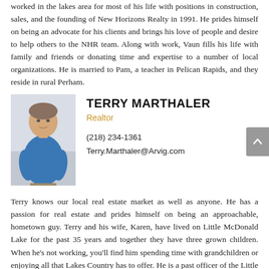worked in the lakes area for most of his life with positions in construction, sales, and the founding of New Horizons Realty in 1991. He prides himself on being an advocate for his clients and brings his love of people and desire to help others to the NHR team. Along with work, Vaun fills his life with family and friends or donating time and expertise to a number of local organizations. He is married to Pam, a teacher in Pelican Rapids, and they reside in rural Perham.
[Figure (photo): Photo of Terry Marthaler, a man in a blue polo shirt]
TERRY MARTHALER
Realtor
(218) 234-1361
Terry.Marthaler@Arvig.com
Terry knows our local real estate market as well as anyone. He has a passion for real estate and prides himself on being an approachable, hometown guy. Terry and his wife, Karen, have lived on Little McDonald Lake for the past 35 years and together they have three grown children. When he's not working, you'll find him spending time with grandchildren or enjoying all that Lakes Country has to offer. He is a past officer of the Little McDonald Lake Association and the LMKP LID, and currently serves on the Perham Health Board of Directors.